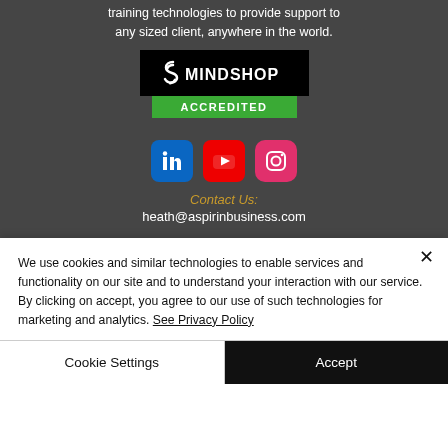training technologies to provide support to any sized client, anywhere in the world.
[Figure (logo): Mindshop Accredited logo badge: black background with Mindshop swirl logo and white text 'MINDSHOP', below a green bar with white text 'ACCREDITED']
[Figure (infographic): Three social media icons: LinkedIn (blue), YouTube (red), Instagram (pink/red)]
Contact Us:
heath@aspirinbusiness.com
We use cookies and similar technologies to enable services and functionality on our site and to understand your interaction with our service. By clicking on accept, you agree to our use of such technologies for marketing and analytics. See Privacy Policy